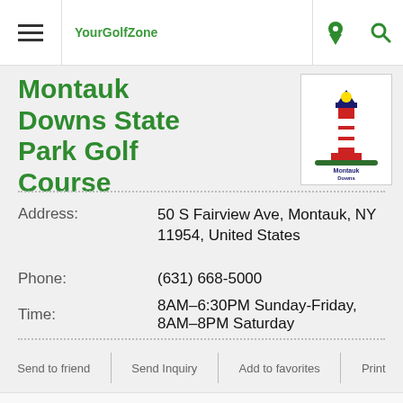YourGolfZone
Montauk Downs State Park Golf Course
[Figure (logo): Montauk Downs State Park logo with lighthouse illustration]
Address: 50 S Fairview Ave, Montauk, NY 11954, United States
Phone: (631) 668-5000
Time: 8AM–6:30PM Sunday-Friday, 8AM–8PM Saturday
Send to friend | Send Inquiry | Add to favorites | Print